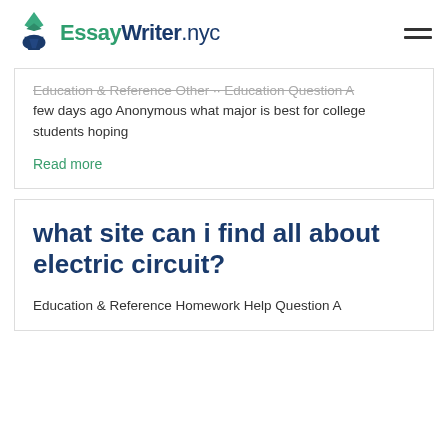EssayWriter.nyc
Education & Reference Other · Education Question A few days ago Anonymous what major is best for college students hoping
Read more
what site can i find all about electric circuit?
Education & Reference Homework Help Question A